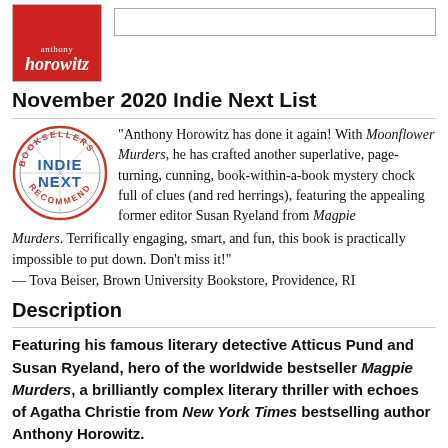[Figure (illustration): Red book cover with 'anthony horowitz' author name and stylized title text, alongside an empty search box]
November 2020 Indie Next List
[Figure (logo): Indie Next circular stamp logo with 'BOOKSELLERS RECOMMEND' around the edge and 'INDIE NEXT' in bold text in the center]
"Anthony Horowitz has done it again! With Moonflower Murders, he has crafted another superlative, page-turning, cunning, book-within-a-book mystery chock full of clues (and red herrings), featuring the appealing former editor Susan Ryeland from Magpie Murders. Terrifically engaging, smart, and fun, this book is practically impossible to put down. Don't miss it!"
— Tova Beiser, Brown University Bookstore, Providence, RI
Description
Featuring his famous literary detective Atticus Pund and Susan Ryeland, hero of the worldwide bestseller Magpie Murders, a brilliantly complex literary thriller with echoes of Agatha Christie from New York Times bestselling author Anthony Horowitz.